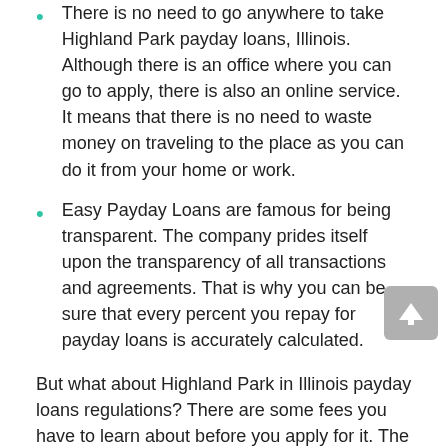There is no need to go anywhere to take Highland Park payday loans, Illinois. Although there is an office where you can go to apply, there is also an online service. It means that there is no need to waste money on traveling to the place as you can do it from your home or work.
Easy Payday Loans are famous for being transparent. The company prides itself upon the transparency of all transactions and agreements. That is why you can be sure that every percent you repay for payday loans is accurately calculated.
But what about Highland Park in Illinois payday loans regulations? There are some fees you have to learn about before you apply for it. The lenders cannot charge more than one dollar per every five dollars if you borrow around 30 dollars. Payday loans maximum APR makes up about 309 percent in case of a 100 dollars loan for two weeks. The amount you borrow is to be repaid in 30 days. The customers cannot take more than four Highland Park